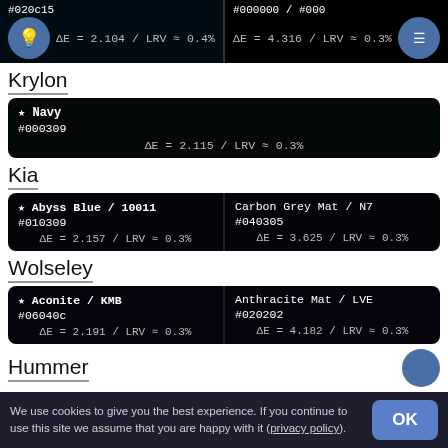#020c15 / ΔE = 2.104 / LRV ≈ 0.4%
#000000 / #000 / ΔE = 4.316 / LRV ≈ 0.3%
Krylon
| ★ Navy | #000309 | ΔE = 2.115 / LRV ≈ 0.3% |
Kia
| ★ Abyss Blue / 10011 | #010309 | ΔE = 2.157 / LRV ≈ 0.3% |
| Carbon Grey Mat / N7 | #040305 | ΔE = 3.625 / LRV ≈ 0.3% |
Wolseley
| ★ Aconite / KMB | #06040c | ΔE = 2.191 / LRV ≈ 0.3% |
| Anthracite Mat / LVE | #020202 | ΔE = 4.182 / LRV ≈ 0.3% |
Hummer
We use cookies to give you the best experience. If you continue to use this site we assume that you are happy with it (privacy policy).